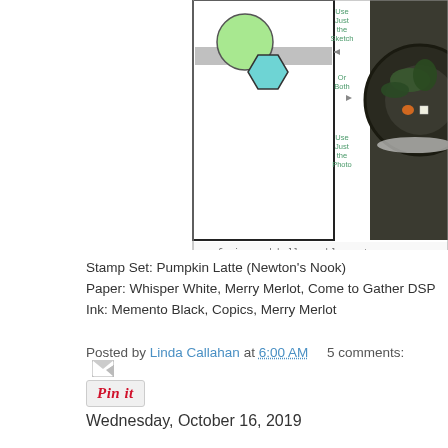[Figure (screenshot): Fusion card challenge blog screenshot showing a sketch layout with circle and hexagon shapes on left panel, and a photo of a winter tire planter scene with greenery, pumpkins, and small decorations on right panel. URL www.fusioncardchallenge.blogspot appears at bottom.]
Stamp Set: Pumpkin Latte (Newton's Nook)
Paper: Whisper White, Merry Merlot, Come to Gather DSP
Ink: Memento Black, Copics, Merry Merlot
Posted by Linda Callahan at 6:00 AM    5 comments:
[Figure (other): Pin it button]
Wednesday, October 16, 2019